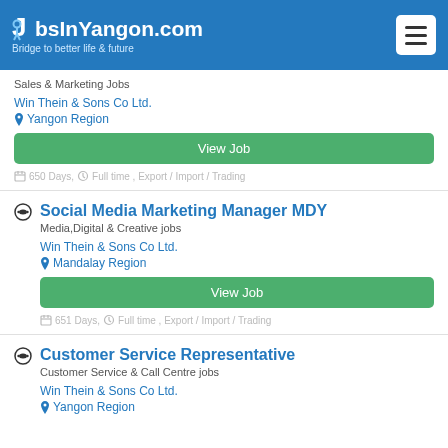JobsInYangon.com – Bridge to better life & future
Sales & Marketing Jobs
Win Thein & Sons Co Ltd.
Yangon Region
View Job
650 Days, Full time , Export / Import / Trading
Social Media Marketing Manager MDY
Media,Digital & Creative jobs
Win Thein & Sons Co Ltd.
Mandalay Region
View Job
651 Days, Full time , Export / Import / Trading
Customer Service Representative
Customer Service & Call Centre jobs
Win Thein & Sons Co Ltd.
Yangon Region